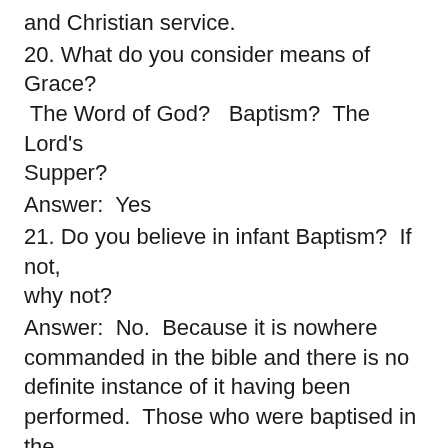and Christian service.
20. What do you consider means of Grace?  The Word of God?   Baptism?  The Lord's Supper?
Answer:  Yes
21. Do you believe in infant Baptism?  If not, why not?
Answer:  No.  Because it is nowhere commanded in the bible and there is no definite instance of it having been performed.  Those who were baptised in the New Testament were the converts of the Servants of God as a result of their preaching.
22. Will you briefly explain the manifestation of the Spirit of God?
Answer:  The Spirit of God is given as a seal of the faith to the believers, Ephesians 1:13,